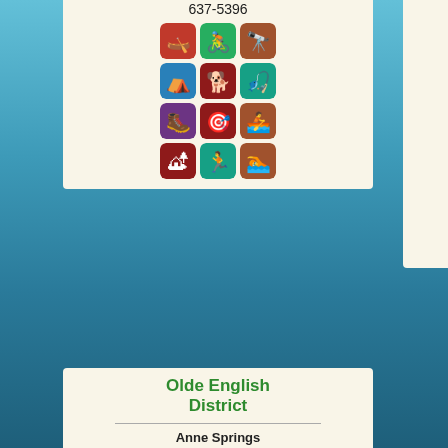637-5396
[Figure (infographic): Grid of activity icons: kayaking (red), cycling (green), binoculars (brown), camping (blue), dog (maroon), fishing (teal), hiking (purple), archery (maroon), rowing (orange-brown), picnic table (maroon), running (teal), swimming (brown)]
Lancaster, SC 29720 southcarolinapark
Phone: 803-285-3344
[Figure (infographic): Grid of activity icons: cycling (green), binoculars (brown), fishing (teal), camping (blue), kayaking (red), archery (maroon), hiking (purple), rowing (teal), picnic table (purple), running (teal), group/community (green)]
Olde English District
Anne Springs Close Greenway
250 Dairy Barn Lane
Fort Mill, SC 29715
Ascgreenway.org
Phone: 803-547-4575
Olde English District
Blackstock Battlefield State Historic Site
398 State Park Rd